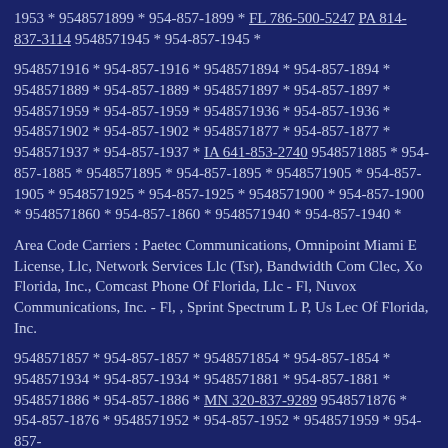1953 * 9548571899 * 954-857-1899 * FL 786-500-5247 PA 814-837-3114 9548571945 * 954-857-1945 *
9548571916 * 954-857-1916 * 9548571894 * 954-857-1894 * 9548571889 * 954-857-1889 * 9548571897 * 954-857-1897 * 9548571959 * 954-857-1959 * 9548571936 * 954-857-1936 * 9548571902 * 954-857-1902 * 9548571877 * 954-857-1877 * 9548571937 * 954-857-1937 * IA 641-853-2740 9548571885 * 954-857-1885 * 9548571895 * 954-857-1895 * 9548571905 * 954-857-1905 * 9548571925 * 954-857-1925 * 9548571900 * 954-857-1900 * 9548571860 * 954-857-1860 * 9548571940 * 954-857-1940 *
Area Code Carriers : Paetec Communications, Omnipoint Miami E License, Llc, Network Services Llc (Tsr), Bandwidth Com Clec, Xo Florida, Inc., Comcast Phone Of Florida, Llc - Fl, Nuvox Communications, Inc. - Fl, , Sprint Spectrum L P, Us Lec Of Florida, Inc.
9548571857 * 954-857-1857 * 9548571854 * 954-857-1854 * 9548571934 * 954-857-1934 * 9548571881 * 954-857-1881 * 9548571886 * 954-857-1886 * MN 320-837-9289 9548571876 * 954-857-1876 * 9548571952 * 954-857-1952 * 9548571959 * 954-857-